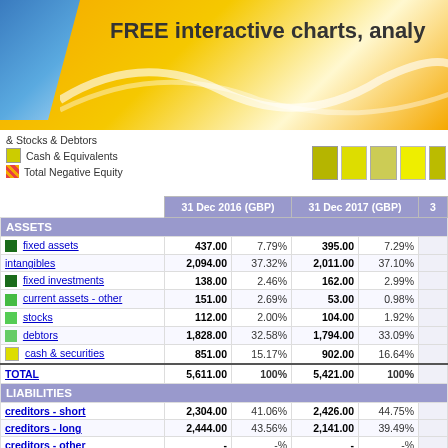FREE interactive charts, analy
[Figure (infographic): Legend showing & Stocks & Debtors, Cash & Equivalents (yellow), Total Negative Equity (striped red/orange) with colored cell samples]
|  | 31 Dec 2016 (GBP) |  | 31 Dec 2017 (GBP) |  | 3 |
| --- | --- | --- | --- | --- | --- |
| ASSETS |  |  |  |  |  |
| fixed assets | 437.00 | 7.79% | 395.00 | 7.29% |  |
| intangibles | 2,094.00 | 37.32% | 2,011.00 | 37.10% |  |
| fixed investments | 138.00 | 2.46% | 162.00 | 2.99% |  |
| current assets - other | 151.00 | 2.69% | 53.00 | 0.98% |  |
| stocks | 112.00 | 2.00% | 104.00 | 1.92% |  |
| debtors | 1,828.00 | 32.58% | 1,794.00 | 33.09% |  |
| cash & securities | 851.00 | 15.17% | 902.00 | 16.64% |  |
| TOTAL | 5,611.00 | 100% | 5,421.00 | 100% |  |
| LIABILITIES |  |  |  |  |  |
| creditors - short | 2,304.00 | 41.06% | 2,426.00 | 44.75% |  |
| creditors - long | 2,444.00 | 43.56% | 2,141.00 | 39.49% |  |
| creditors - other | - | -% | - | -% |  |
| subordinated loans | - | -% | - | -% |  |
| insurance funds | - | -% | - | -% |  |